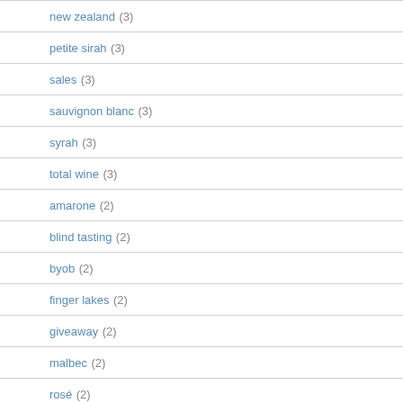new zealand (3)
petite sirah (3)
sales (3)
sauvignon blanc (3)
syrah (3)
total wine (3)
amarone (2)
blind tasting (2)
byob (2)
finger lakes (2)
giveaway (2)
malbec (2)
rosé (2)
sparkling (2)
book reviews (1)